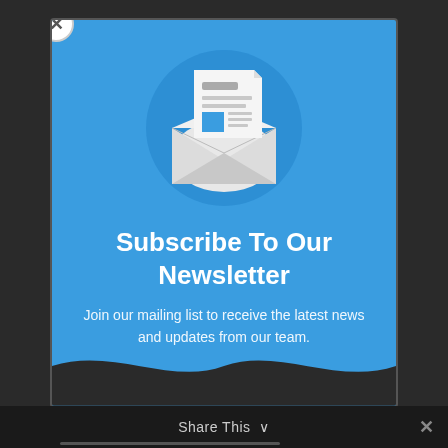[Figure (illustration): Newsletter subscription modal popup with blue background. Contains an envelope/newsletter icon (circular blue background with white open envelope and newsletter document inside), a bold white title, descriptive text, a close (X) button in top-left, a dark wave-shaped footer, and a dark bottom bar with 'Share This' text and chevron.]
Subscribe To Our Newsletter
Join our mailing list to receive the latest news and updates from our team.
Share This ∨